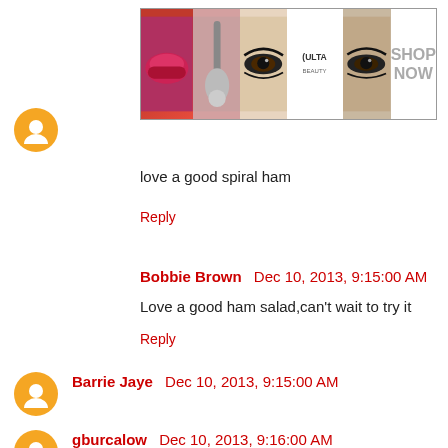[Figure (other): ULTA Beauty advertisement banner showing makeup/beauty imagery with 'SHOP NOW' text]
love a good spiral ham
Reply
Bobbie Brown  Dec 10, 2013, 9:15:00 AM
Love a good ham salad,can't wait to try it
Reply
Barrie Jaye  Dec 10, 2013, 9:15:00 AM
Split Pea Soup with ham in the crock pot, especially during the winter!
Reply
gburcalow  Dec 10, 2013, 9:16:00 AM